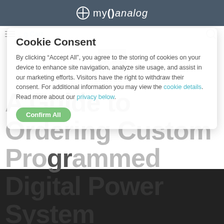myAnalog
Cookie Consent
By clicking “Accept All”, you agree to the storing of cookies on your device to enhance site navigation, analyze site usage, and assist in our marketing efforts. Visitors have the right to withdraw their consent. For additional information you may view the cookie details. Read more about our privacy below.
A Guide to Ordering Custom Programmed Digital Power System Management Devices